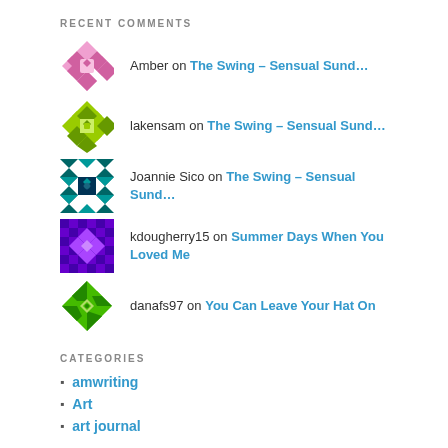RECENT COMMENTS
Amber on The Swing – Sensual Sund...
lakensam on The Swing – Sensual Sund...
Joannie Sico on The Swing – Sensual Sund...
kdougherry15 on Summer Days When You Loved Me
danafs97 on You Can Leave Your Hat On
CATEGORIES
amwriting
Art
art journal